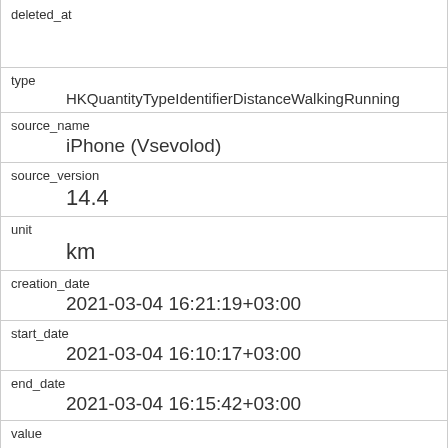| Field | Value |
| --- | --- |
| deleted_at |  |
| type | HKQuantityTypeIdentifierDistanceWalkingRunning |
| source_name | iPhone (Vsevolod) |
| source_version | 14.4 |
| unit | km |
| creation_date | 2021-03-04 16:21:19+03:00 |
| start_date | 2021-03-04 16:10:17+03:00 |
| end_date | 2021-03-04 16:15:42+03:00 |
| value | 0.15146 |
| device_id | iPhone 26 |